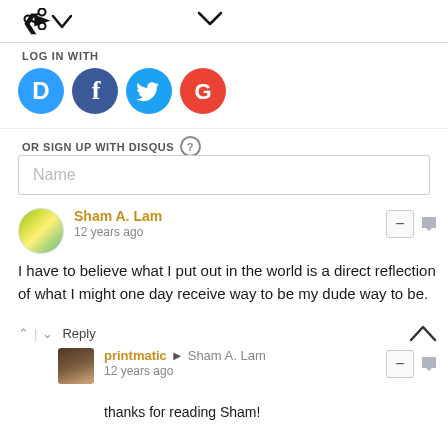[Figure (screenshot): Top bar with share icon and chevron/dropdown icon]
LOG IN WITH
[Figure (infographic): Social login buttons: Disqus (D), Facebook (f), Twitter bird, Google (G) as colored circles]
OR SIGN UP WITH DISQUS ?
Name
Sham A. Lam
12 years ago
I have to believe what I put out in the world is a direct reflection of what I might one day receive way to be my dude way to be.
^ | v  Reply
printmatic → Sham A. Lam
12 years ago
thanks for reading Sham!